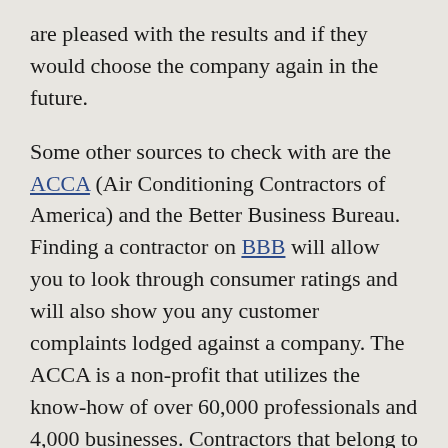are pleased with the results and if they would choose the company again in the future.
Some other sources to check with are the ACCA (Air Conditioning Contractors of America) and the Better Business Bureau. Finding a contractor on BBB will allow you to look through consumer ratings and will also show you any customer complaints lodged against a company. The ACCA is a non-profit that utilizes the know-how of over 60,000 professionals and 4,000 businesses. Contractors that belong to the ACCA are serious about their profession and will enthusiastically provide you with referrals.
An additional option is requesting the help of your friends on social media. These recommendations are coming from people you